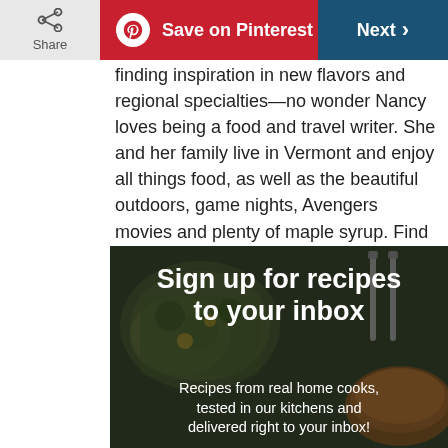Share | Save on Pinterest | Next
finding inspiration in new flavors and regional specialties—no wonder Nancy loves being a food and travel writer. She and her family live in Vermont and enjoy all things food, as well as the beautiful outdoors, game nights, Avengers movies and plenty of maple syrup. Find Nancy's writing and recipes at her website: Hungry Enough To Eat Six.
[Figure (photo): Banner image showing food dishes with text overlay: 'Sign up for recipes to your inbox' and 'Recipes from real home cooks, tested in our kitchens and delivered right to your inbox!']